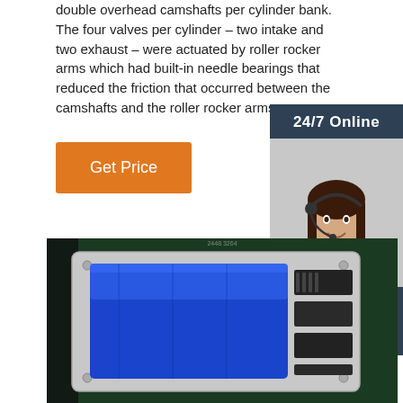double overhead camshafts per cylinder bank. The four valves per cylinder – two intake and two exhaust – were actuated by roller rocker arms which had built-in needle bearings that reduced the friction that occurred between the camshafts and the roller rocker arms.
Get Price
[Figure (infographic): 24/7 Online support sidebar with a photo of a woman wearing a headset, 'Click here for free chat!' text, and an orange QUOTATION button]
[Figure (photo): Product photo showing a blue-wrapped electronic control unit (ECU) inside a grey plastic enclosure with black connectors on the right side, against a dark green background]